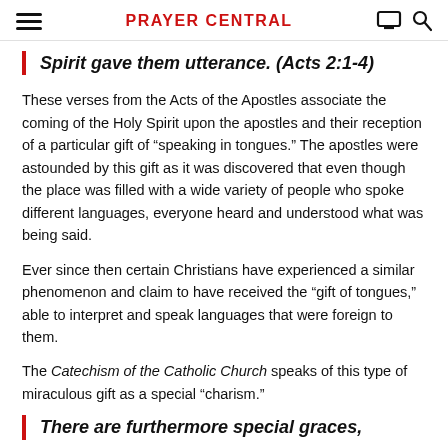PRAYER CENTRAL
Spirit gave them utterance. (Acts 2:1-4)
These verses from the Acts of the Apostles associate the coming of the Holy Spirit upon the apostles and their reception of a particular gift of “speaking in tongues.” The apostles were astounded by this gift as it was discovered that even though the place was filled with a wide variety of people who spoke different languages, everyone heard and understood what was being said.
Ever since then certain Christians have experienced a similar phenomenon and claim to have received the “gift of tongues,” able to interpret and speak languages that were foreign to them.
The Catechism of the Catholic Church speaks of this type of miraculous gift as a special “charism.”
There are furthermore special graces,